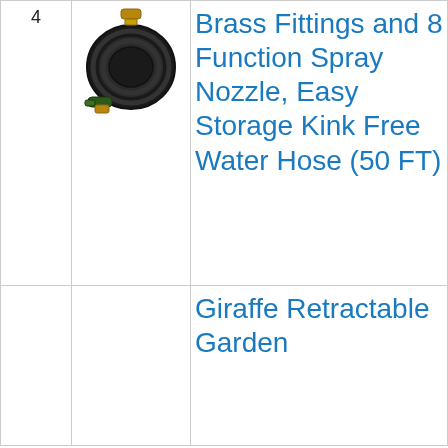| # | Image | Product Title | Buy |
| --- | --- | --- | --- |
| 4 | [hose image] | Brass Fittings and 8 Function Spray Nozzle, Easy Storage Kink Free Water Hose (50 FT) | Buy on Amazon |
|  |  | Giraffe Retractable Garden... |  |